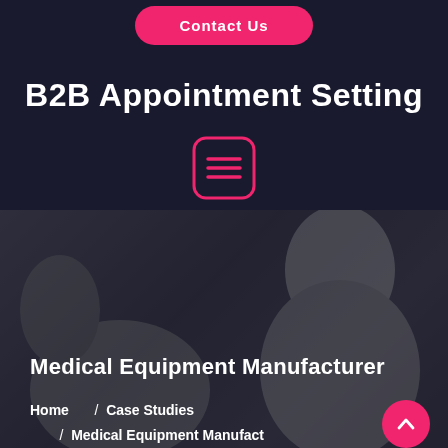Contact Us
B2B Appointment Setting
[Figure (other): Pink rounded square icon with three horizontal menu lines (hamburger menu icon)]
[Figure (photo): Dark overlay photo of people in a meeting or office setting, blurred background]
Medical Equipment Manufacturer
Home  /  Case Studies  /  Medical Equipment Manufacturer